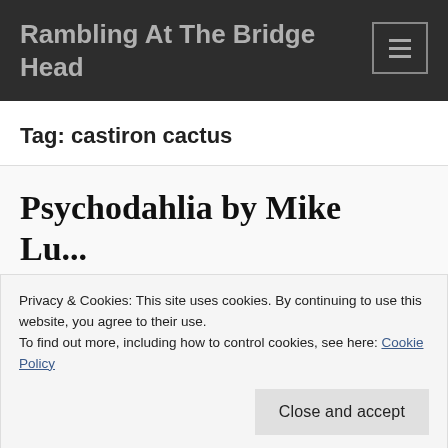Rambling At The Bridge Head
Tag: castiron cactus
Psychodahlia by Mike
Privacy & Cookies: This site uses cookies. By continuing to use this website, you agree to their use.
To find out more, including how to control cookies, see here: Cookie Policy
Close and accept